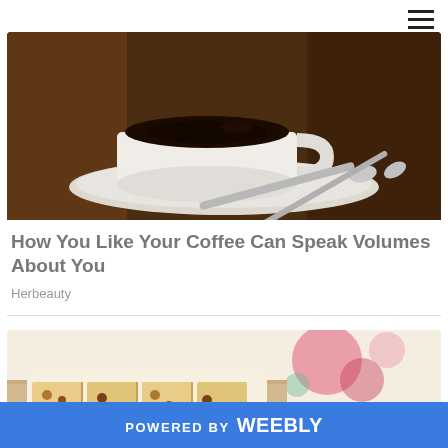[Figure (photo): Photo of a white coffee cup with black coffee on a saucer with a spoon, on a dark wooden table]
How You Like Your Coffee Can Speak Volumes About You
Herbeauty
[Figure (photo): Photo of baked pastry bars with nuts and chocolate chips on parchment paper, with floral fabric in background]
POWERED BY weebly